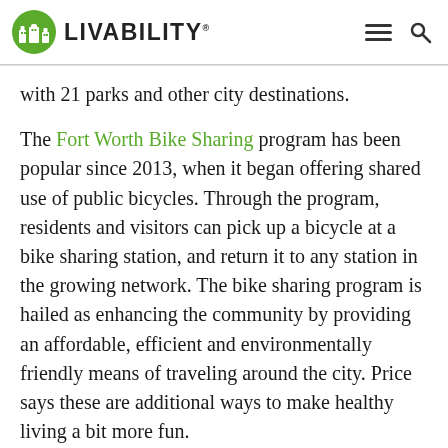LIVABILITY
with 21 parks and other city destinations.
The Fort Worth Bike Sharing program has been popular since 2013, when it began offering shared use of public bicycles. Through the program, residents and visitors can pick up a bicycle at a bike sharing station, and return it to any station in the growing network. The bike sharing program is hailed as enhancing the community by providing an affordable, efficient and environmentally friendly means of traveling around the city. Price says these are additional ways to make healthy living a bit more fun.
“I grew up riding bikes and horses, and I’m still an avid cyclist â€¦ Price says. “And I like a good meal. I’ll